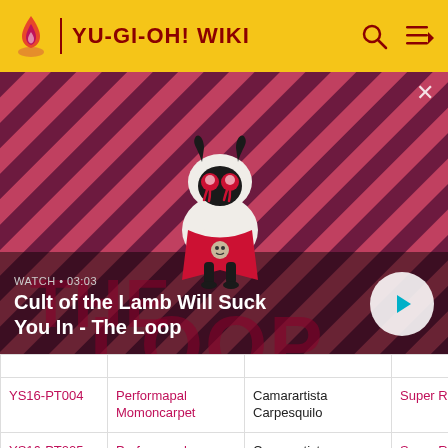YU-GI-OH! WIKI
[Figure (screenshot): Video thumbnail for 'Cult of the Lamb Will Suck You In - The Loop' with a cartoon lamb character on a diagonal striped red/dark background. Shows WATCH • 03:03 label and a play button.]
|  |  |  |  |  |
| --- | --- | --- | --- | --- |
| YS16-PT004 | Performapal Momoncarpet | Camarartista Carpesquilo | Super Rare |  |
| YS16-PT005 | Performapal Parrotrio | Camarartista Papagaiada | Super Rare |  |